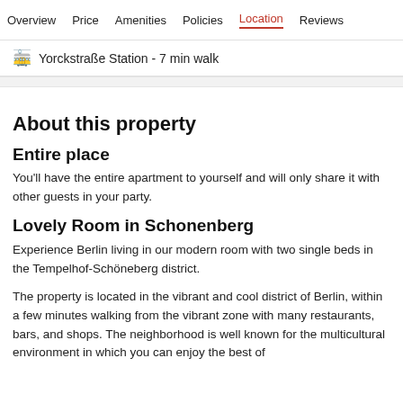Overview  Price  Amenities  Policies  Location  Reviews
🚋 Yorckstraße Station - 7 min walk
About this property
Entire place
You'll have the entire apartment to yourself and will only share it with other guests in your party.
Lovely Room in Schonenberg
Experience Berlin living in our modern room with two single beds in the Tempelhof-Schöneberg district.
The property is located in the vibrant and cool district of Berlin, within a few minutes walking from the vibrant zone with many restaurants, bars, and shops. The neighborhood is well known for the multicultural environment in which you can enjoy the best of